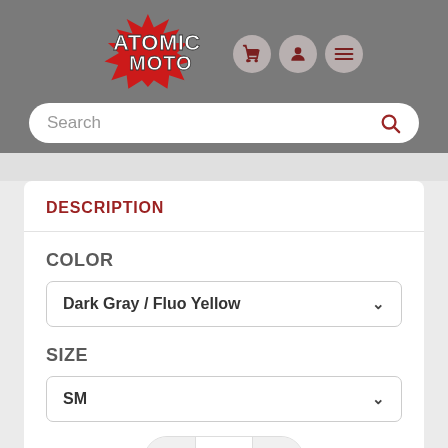[Figure (logo): Atomic Moto logo with red starburst and stylized text, followed by three circular nav icons (cart, user, menu)]
Search
DESCRIPTION
COLOR
Dark Gray / Fluo Yellow
SIZE
SM
1
$150.25